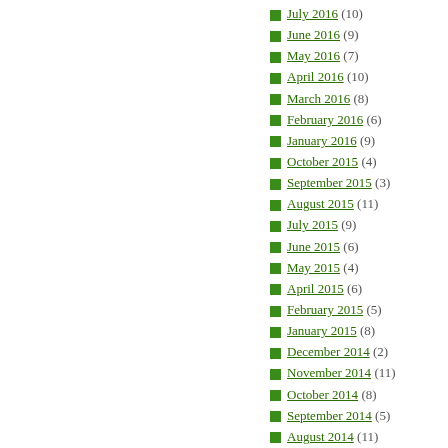July 2016 (10)
June 2016 (9)
May 2016 (7)
April 2016 (10)
March 2016 (8)
February 2016 (6)
January 2016 (9)
October 2015 (4)
September 2015 (3)
August 2015 (11)
July 2015 (9)
June 2015 (6)
May 2015 (4)
April 2015 (6)
February 2015 (5)
January 2015 (8)
December 2014 (2)
November 2014 (11)
October 2014 (8)
September 2014 (5)
August 2014 (11)
July 2014 (6)
June 2014 (20)
May 2014 (8)
April 2014 (8)